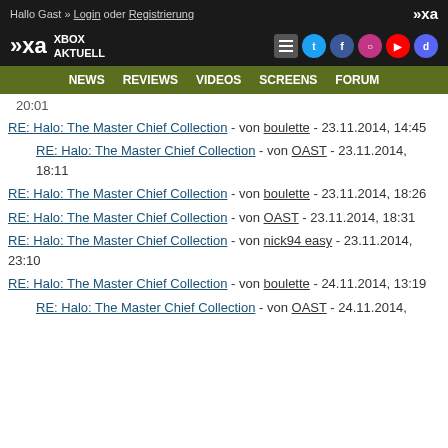Hallo Gast » Login oder Registrierung
XBOX AKTUELL — Navigation: NEWS REVIEWS VIDEOS SCREENS FORUM
RE: Halo: The Master Chief Collection - von boulette - 23.11.2014, 14:45
RE: Halo: The Master Chief Collection - von OAST - 23.11.2014, 18:11
RE: Halo: The Master Chief Collection - von boulette - 23.11.2014, 18:26
RE: Halo: The Master Chief Collection - von OAST - 23.11.2014, 18:31
RE: Halo: The Master Chief Collection - von nick94 easy - 23.11.2014, 23:10
RE: Halo: The Master Chief Collection - von boulette - 24.11.2014, 13:19
RE: Halo: The Master Chief Collection - von OAST - 24.11.2014,